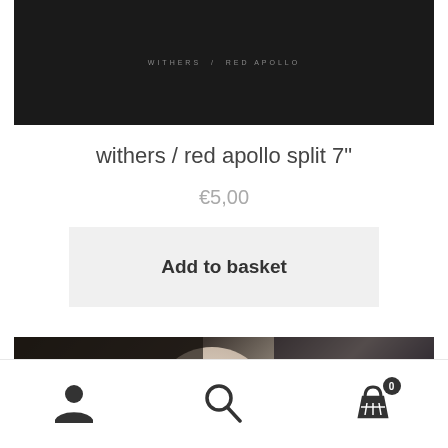[Figure (photo): Dark album cover image with text 'WITHERS / RED APOLLO' in small caps centered on dark background]
withers / red apollo split 7"
€5,00
Add to basket
[Figure (photo): Artistic illustration with moon, dark fantasy figures against moonlit background in dark tones of brown, grey and pink]
Navigation bar with person icon, search icon, and basket icon with badge showing 0